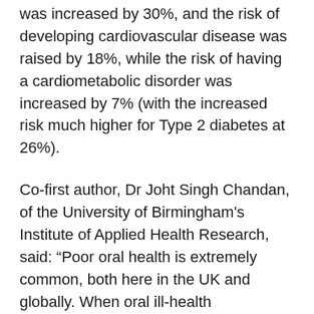was increased by 30%, and the risk of developing cardiovascular disease was raised by 18%, while the risk of having a cardiometabolic disorder was increased by 7% (with the increased risk much higher for Type 2 diabetes at 26%).
Co-first author, Dr Joht Singh Chandan, of the University of Birmingham's Institute of Applied Health Research, said: “Poor oral health is extremely common, both here in the UK and globally. When oral ill-health progresses, it can lead to a substantially reduced quality of life. However, until now, not much has been known about the association of poor oral health and many chronic diseases, particularly mental ill-health.Therefore, we conducted one of the largest epidemiological studies of its kind to date, using UK primary care data to explore